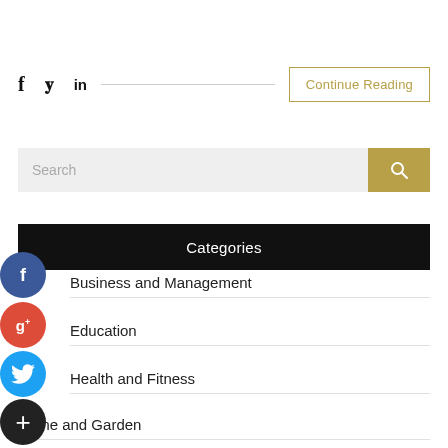[Figure (infographic): Social share icons row: Facebook f, Twitter bird, LinkedIn in, horizontal divider line, Continue Reading button with gold border]
[Figure (screenshot): Search bar with light gray input field and gold search button with magnifying glass icon]
Categories
[Figure (infographic): Floating Facebook circle icon (blue) on left margin]
Business and Management
[Figure (infographic): Floating Google+ circle icon (red) on left margin]
Education
[Figure (infographic): Floating Twitter circle icon (blue) on left margin]
Health and Fitness
[Figure (infographic): Floating plus/add circle icon (dark) on left margin]
Home and Garden
Legal